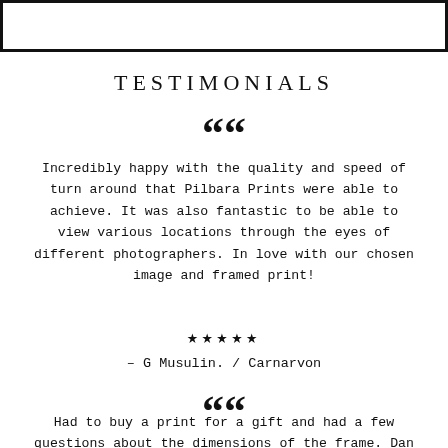TESTIMONIALS
““
Incredibly happy with the quality and speed of turn around that Pilbara Prints were able to achieve. It was also fantastic to be able to view various locations through the eyes of different photographers. In love with our chosen image and framed print!
★★★★★
– G Musulin. / Carnarvon
““
Had to buy a print for a gift and had a few questions about the dimensions of the frame. Dan was very quick to respond and help out. The frame was of a high quality and the picture